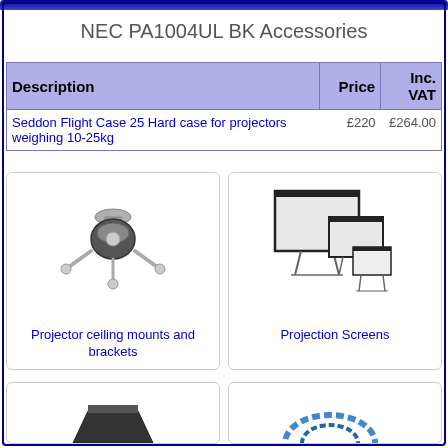NEC PA1004UL BK Accessories
| Description | Price | Inc. VAT |
| --- | --- | --- |
| Seddon Flight Case 25 Hard case for projectors weighing 10-25kg | £220 | £264.00 |
[Figure (photo): Projector ceiling mount and bracket hardware]
Projector ceiling mounts and brackets
[Figure (photo): Three projection screens of different sizes on stands]
Projection Screens
[Figure (photo): Partially visible accessories product image]
[Figure (photo): Partially visible accessories product image]